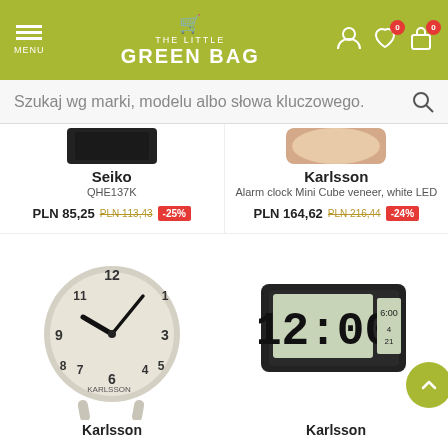THE LITTLE GREEN BAG - navigation header with menu, logo, user icons
Szukaj wg marki, modelu albo słowa kluczowego.
Seiko
QHE137K
PLN 85,25 PLN 113,43 -25%
Karlsson
Alarm clock Mini Cube veneer, white LED
PLN 164,62 PLN 216,44 -24%
[Figure (photo): Karlsson analog alarm clock in beige/grey color with Arabic numerals and two legs]
[Figure (photo): Karlsson digital alarm clock with LCD display showing 12:00, black casing]
Karlsson
Karlsson